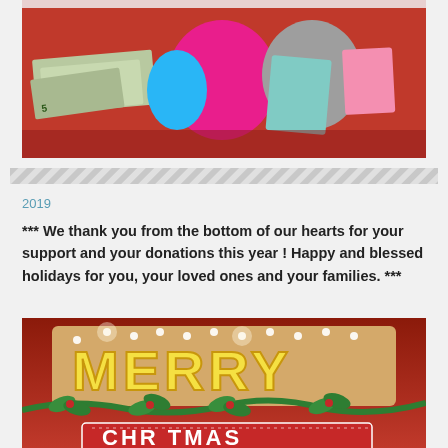[Figure (photo): Open red box containing euro banknotes (5, 10 denominations) and colorful cartoon character cutouts/stickers]
[Figure (illustration): Diagonal hatching/striped decorative divider band]
2019
*** We thank you from the bottom of our hearts for your support and your donations this year ! Happy and blessed holidays for you, your loved ones and your families. ***
[Figure (photo): Merry Christmas sign with illuminated marquee letters on red background with green holly garland, partially showing 'MERRY' and top of 'CHRISTMAS']